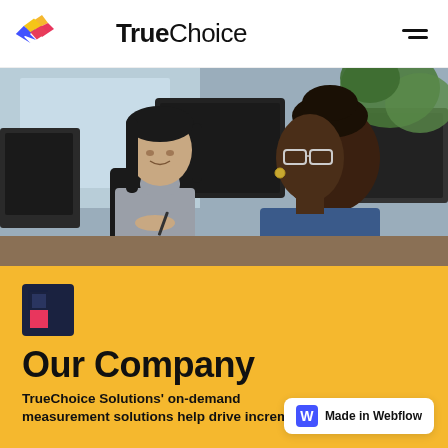TrueChoice (logo) — navigation header with hamburger menu
[Figure (photo): Two women in a modern office setting, one Asian woman with long dark hair wearing a grey turtleneck sweater, and one Black woman with updo hair wearing glasses and a blue top, appearing to be in a meeting conversation. Background shows monitors and green plant.]
[Figure (logo): TrueChoice Solutions small square logo icon — dark navy and pink/magenta squares forming a bracket shape]
Our Company
TrueChoice Solutions' on-demand measurement solutions help drive incremental
[Figure (logo): Made in Webflow badge — white pill with blue W icon and text 'Made in Webflow']